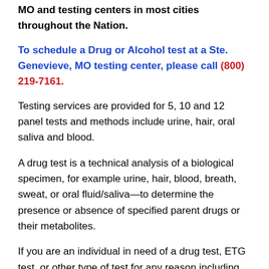MO and testing centers in most cities throughout the Nation.
To schedule a Drug or Alcohol test at a Ste. Genevieve, MO testing center, please call (800) 219-7161.
Testing services are provided for 5, 10 and 12 panel tests and methods include urine, hair, oral saliva and blood.
A drug test is a technical analysis of a biological specimen, for example urine, hair, blood, breath, sweat, or oral fluid/saliva—to determine the presence or absence of specified parent drugs or their metabolites.
If you are an individual in need of a drug test, ETG test, or other type of test for any reason including court ordered, Health Screenings USA specializes in